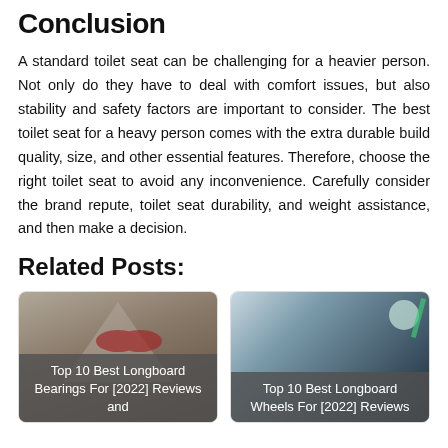Conclusion
A standard toilet seat can be challenging for a heavier person. Not only do they have to deal with comfort issues, but also stability and safety factors are important to consider. The best toilet seat for a heavy person comes with the extra durable build quality, size, and other essential features. Therefore, choose the right toilet seat to avoid any inconvenience. Carefully consider the brand repute, toilet seat durability, and weight assistance, and then make a decision.
Related Posts:
[Figure (photo): Card with image of longboard bearings with overlay text: Top 10 Best Longboard Bearings For [2022] Reviews and]
[Figure (photo): Card with image of longboard wheels with overlay text: Top 10 Best Longboard Wheels For [2022] Reviews]